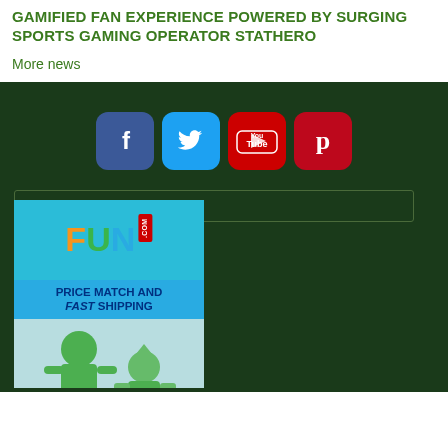GAMIFIED FAN EXPERIENCE POWERED BY SURGING SPORTS GAMING OPERATOR STATHERO
More news
[Figure (infographic): Social media icon buttons: Facebook (blue), Twitter (light blue), YouTube (red), Pinterest (dark red), arranged horizontally on dark green background]
Search ...
[Figure (illustration): FUN.COM advertisement banner with logo, 'PRICE MATCH AND FAST SHIPPING' text, and Hulk and Magneto toy figures on light blue/teal background]